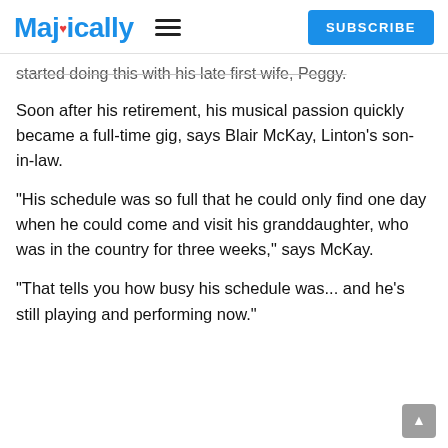Majically | SUBSCRIBE
started doing this with his late first wife, Peggy.
Soon after his retirement, his musical passion quickly became a full-time gig, says Blair McKay, Linton's son-in-law.
“His schedule was so full that he could only find one day when he could come and visit his granddaughter, who was in the country for three weeks,” says McKay.
“That tells you how busy his schedule was... and he’s still playing and performing now.”